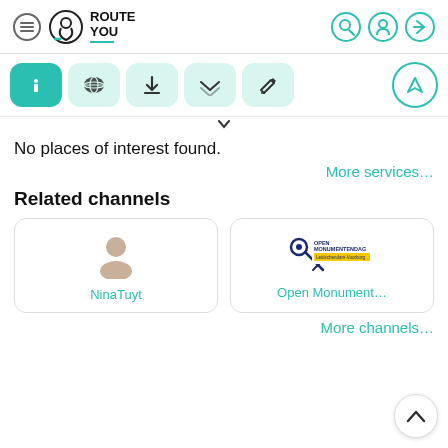[Figure (screenshot): RouteYou app header with hamburger menu, logo, and icons for search, location, and login]
[Figure (screenshot): Toolbar with info (active/teal), globe, download, upload, edit buttons and navigation circle]
No places of interest found.
More services…
Related channels
[Figure (illustration): Channel card: NinaTuyt with person/avatar icon]
[Figure (logo): Channel card: Open Monument... with Open Monumentendag Leidschendam-Voorburg logo (key icon, blue and yellow)]
More channels…